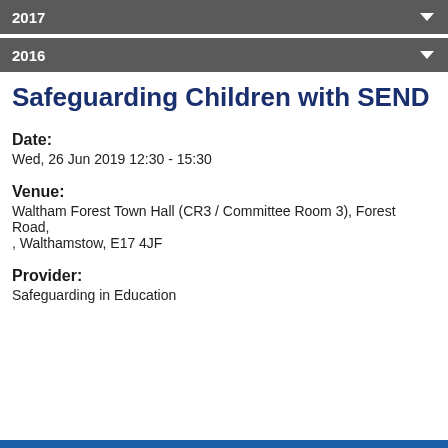2017
2016
Safeguarding Children with SEND
Date:
Wed, 26 Jun 2019 12:30 - 15:30
Venue:
Waltham Forest Town Hall (CR3 / Committee Room 3), Forest Road, , Walthamstow, E17 4JF
Provider:
Safeguarding in Education